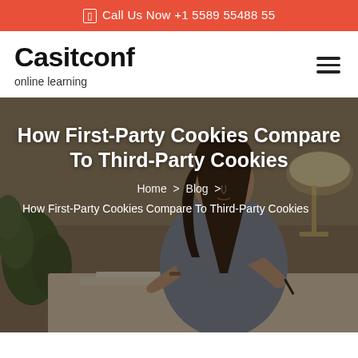Call Us Now +1 5589 55488 55
Casitconf
online learning
[Figure (photo): Hero section with background photo of a young woman with long dark hair sitting at a desk writing, with a lamp and plant visible. Overlaid with dark semi-transparent layer and white text.]
How First-Party Cookies Compare To Third-Party Cookies
Home > Blog > How First-Party Cookies Compare To Third-Party Cookies